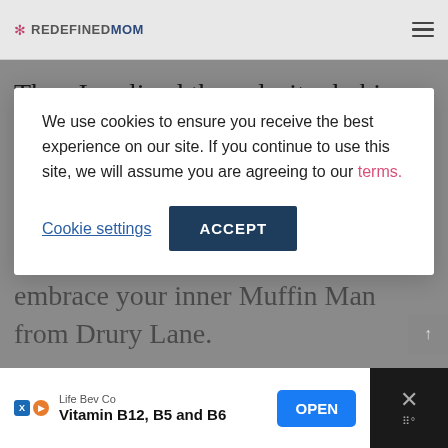REDEFINEDMOM
Then I realized the culprit…baking powder with
We use cookies to ensure you receive the best experience on our site. If you continue to use this site, we will assume you are agreeing to our terms.
Cookie settings    ACCEPT
suffer from 'funky muffin taste', now you have a way to solve it and can embrace your inner Muffin Man from Drury Lane.
Life Bev Co  Vitamin B12, B5 and B6  OPEN